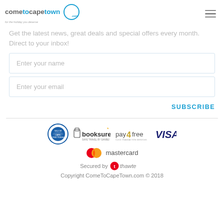cometocapetown.com — for the holiday you deserve
Get the latest news, great deals and special offers every month. Direct to your inbox!
Enter your name
Enter your email
SUBSCRIBE
[Figure (logo): Trust/payment logos: SATSA, booksure, pay4free, VISA, Mastercard, Secured by thawte]
Copyright ComeToCapeTown.com © 2018